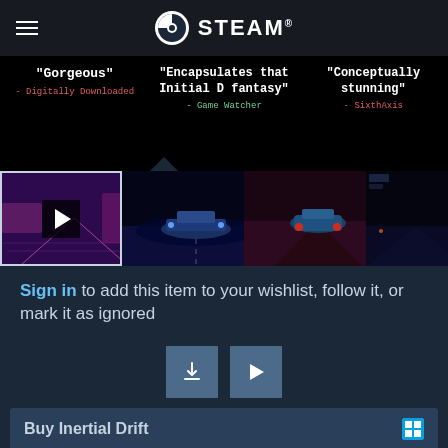STEAM
"Gorgeous" - Digitally Downloaded
"Encapsulates that Initial D fantasy" - Game Watcher
"Conceptually stunning" - SixthAxis
[Figure (screenshot): Game screenshot thumbnails strip with video play button on first thumbnail]
Sign in to add this item to your wishlist, follow it, or mark it as ignored
Buy Inertial Drift